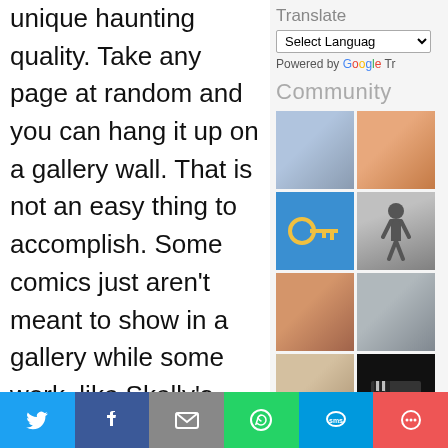unique haunting quality. Take any page at random and you can hang it up on a gallery wall. That is not an easy thing to accomplish. Some comics just aren't meant to show in a gallery while some work, like Skelly's, infused with such a rich assortment of elements
Translate
Select Language
Powered by Google Tr
Community
[Figure (photo): Grid of community member avatars/profile photos including people, a key icon on blue background, Comics Grinder logo, and other thumbnails]
[Figure (infographic): Social sharing bar at bottom with Twitter, Facebook, Email, WhatsApp, SMS, and more sharing buttons]